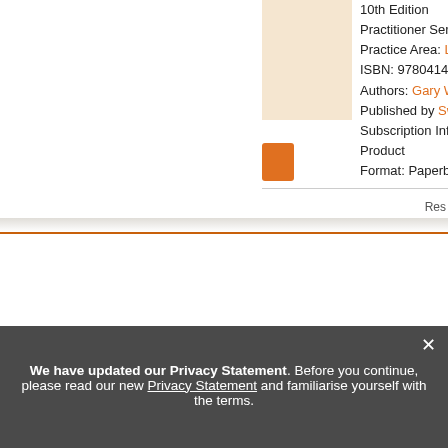[Figure (illustration): Book cover thumbnail with beige/cream background]
10th Edition
Practitioner Series
Practice Area: Landlord [truncated]
ISBN: 9780414057272 [truncated]
Authors: Gary Webbe [truncated]
Published by Sweet & [truncated]
Subscription Information
Product
Format: Paperback
[Figure (logo): Orange book icon]
Res
> Browse Practice Families
Common Law Library
Company and Commercial
Crime and Litigation
Land and Property
Private Client
Public Law / Regulatory / Other Tax
> Customer Services
Shopping & Delivery
Billing & Accounts
Return Policy
International Customers
My Account Self Service
Contact Us
> About Us
Legal Solutions
Company Overview
Sustainability
We have updated our Privacy Statement. Before you continue, please read our new Privacy Statement and familiarise yourself with the terms.